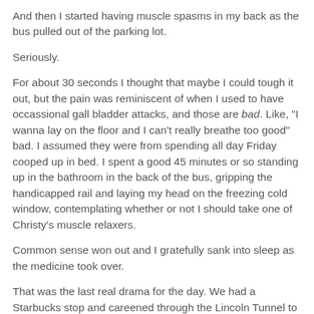And then I started having muscle spasms in my back as the bus pulled out of the parking lot.
Seriously.
For about 30 seconds I thought that maybe I could tough it out, but the pain was reminiscent of when I used to have occassional gall bladder attacks, and those are bad. Like, "I wanna lay on the floor and I can't really breathe too good" bad. I assumed they were from spending all day Friday cooped up in bed. I spent a good 45 minutes or so standing up in the bathroom in the back of the bus, gripping the handicapped rail and laying my head on the freezing cold window, contemplating whether or not I should take one of Christy's muscle relaxers.
Common sense won out and I gratefully sank into sleep as the medicine took over.
That was the last real drama for the day. We had a Starbucks stop and careened through the Lincoln Tunnel to arrive in the Big Apple around 10 am or so.